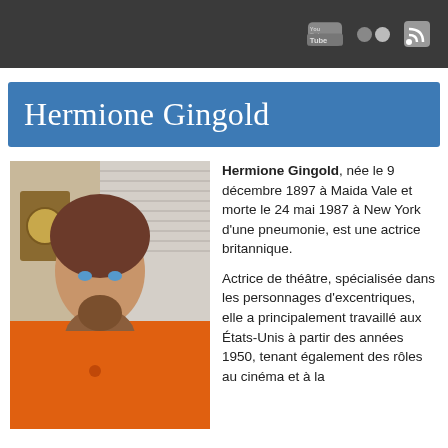Hermione Gingold
[Figure (photo): Hermione Gingold in an orange jacket holding a small brown dog close to her face, with a clock visible in the background.]
Hermione Gingold, née le 9 décembre 1897 à Maida Vale et morte le 24 mai 1987 à New York d'une pneumonie, est une actrice britannique.

Actrice de théâtre, spécialisée dans les personnages d'excentriques, elle a principalement travaillé aux États-Unis à partir des années 1950, tenant également des rôles au cinéma et à la